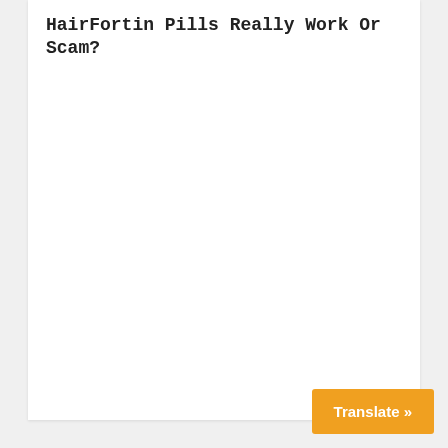HairFortin Pills Really Work Or Scam?
Translate »